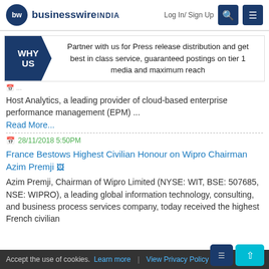businesswire INDIA | Log In/ Sign Up
Partner with us for Press release distribution and get best in class service, guaranteed postings on tier 1 media and maximum reach
Host Analytics, a leading provider of cloud-based enterprise performance management (EPM) ...
Read More...
28/11/2018 5:50PM
France Bestows Highest Civilian Honour on Wipro Chairman Azim Premji
Azim Premji, Chairman of Wipro Limited (NYSE: WIT, BSE: 507685, NSE: WIPRO), a leading global information technology, consulting, and business process services company, today received the highest French civilian
Accept the use of cookies. Learn more | View Privacy Policy